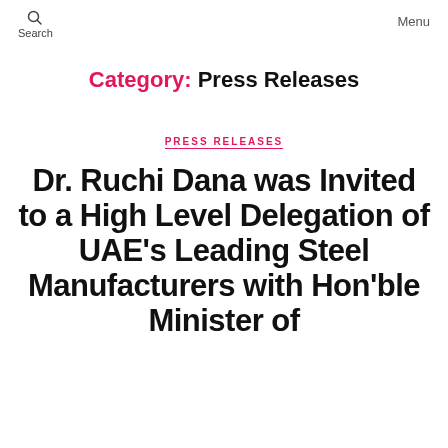Search  Menu
Category: Press Releases
PRESS RELEASES
Dr. Ruchi Dana was Invited to a High Level Delegation of UAE's Leading Steel Manufacturers with Hon'ble Minister of